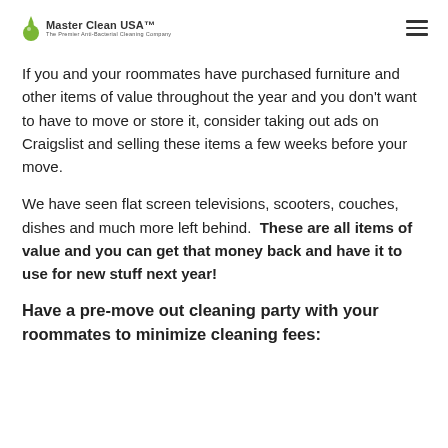Master Clean USA™ — The Premier Anti-Bacterial Cleaning Company
If you and your roommates have purchased furniture and other items of value throughout the year and you don't want to have to move or store it, consider taking out ads on Craigslist and selling these items a few weeks before your move.
We have seen flat screen televisions, scooters, couches, dishes and much more left behind.  These are all items of value and you can get that money back and have it to use for new stuff next year!
Have a pre-move out cleaning party with your roommates to minimize cleaning fees: